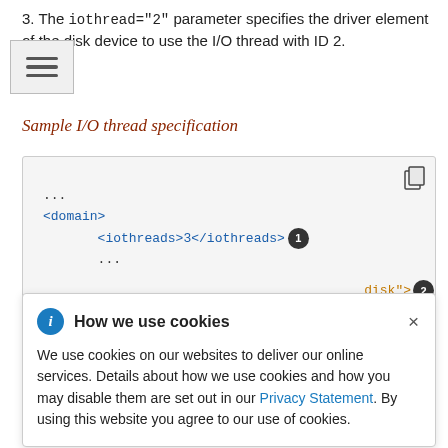3. The iothread="2" parameter specifies the driver element of the disk device to use the I/O thread with ID 2.
Sample I/O thread specification
[Figure (screenshot): Code block showing XML snippet with <domain>, <iothreads>3</iothreads> and callout 1, with a copy icon in the top right]
Cookie popup overlay: 'How we use cookies' - We use cookies on our websites to deliver our online services. Details about how we use cookies and how you may disable them are set out in our Privacy Statement. By using this website you agree to our use of cookies.
Partial code visible: disk"> with callout 2
1 The number of I/O threads